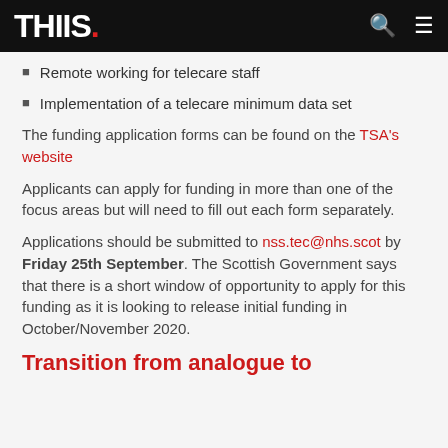THIIS.
Remote working for telecare staff
Implementation of a telecare minimum data set
The funding application forms can be found on the TSA's website
Applicants can apply for funding in more than one of the focus areas but will need to fill out each form separately.
Applications should be submitted to nss.tec@nhs.scot by Friday 25th September. The Scottish Government says that there is a short window of opportunity to apply for this funding as it is looking to release initial funding in October/November 2020.
Transition from analogue to